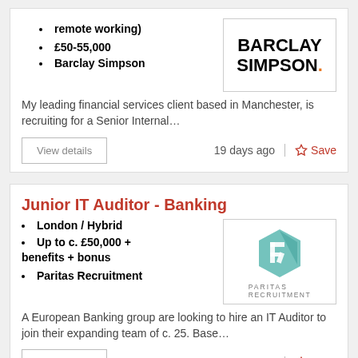remote working)
£50-55,000
Barclay Simpson
My leading financial services client based in Manchester, is recruiting for a Senior Internal…
View details
19 days ago
Save
Junior IT Auditor - Banking
London / Hybrid
Up to c. £50,000 + benefits + bonus
Paritas Recruitment
A European Banking group are looking to hire an IT Auditor to join their expanding team of c. 25. Base…
View details
19 days ago
Save